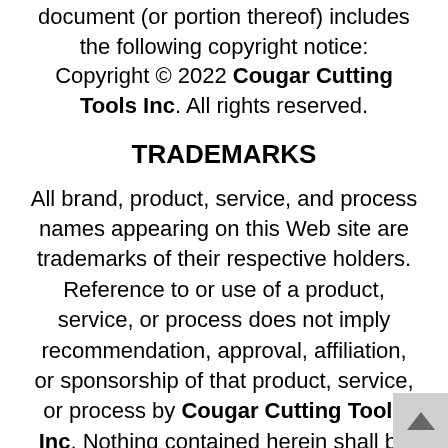document (or portion thereof) includes the following copyright notice: Copyright © 2022 Cougar Cutting Tools Inc. All rights reserved.
TRADEMARKS
All brand, product, service, and process names appearing on this Web site are trademarks of their respective holders. Reference to or use of a product, service, or process does not imply recommendation, approval, affiliation, or sponsorship of that product, service, or process by Cougar Cutting Tools Inc. Nothing contained herein shall be construed as conferring by implication, estoppel, or otherwise any license or right under any patent, copyright, trademark, or other